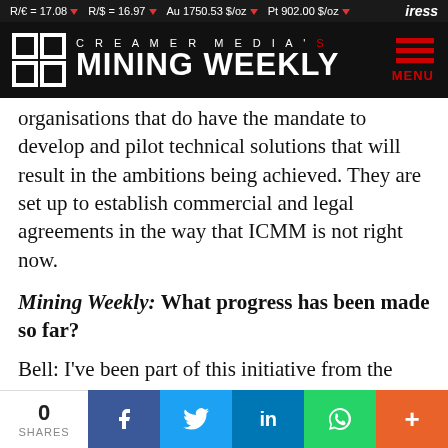R/€ = 17.08 ▼  R/$ = 16.97 ▼  Au 1750.53 $/oz ▼  Pt 902.00 $/oz ▼  iress
[Figure (logo): Creamer Media's Mining Weekly logo — white grid icon and white/red text on black background, with hamburger menu and MENU label in red on right]
organisations that do have the mandate to develop and pilot technical solutions that will result in the ambitions being achieved. They are set up to establish commercial and legal agreements in the way that ICMM is not right now.
Mining Weekly: What progress has been made so far?
Bell: I've been part of this initiative from the beginning, when it was launched by our CEOs in October 2018. The best way to break down progress is over the first three
0 SHARES  f  🐦  in  WhatsApp  +